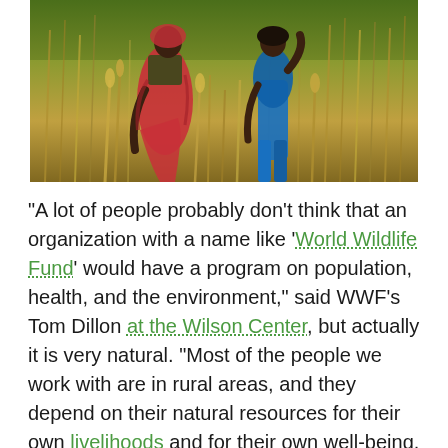[Figure (photo): Two people in colorful traditional clothing (one in red/pink sari, one in blue) standing in tall golden-green grass or grain field, harvesting or working in the field.]
“A lot of people probably don’t think that an organization with a name like ‘World Wildlife Fund’ would have a program on population, health, and the environment,” said WWF’s Tom Dillon at the Wilson Center, but actually it is very natural. “Most of the people we work with are in rural areas, and they depend on their natural resources for their own livelihoods and for their own well-being. Of course, if you are in that situation, in order to be a steward of the environment, you’ve got to have the basics. You have got to have your own health.”